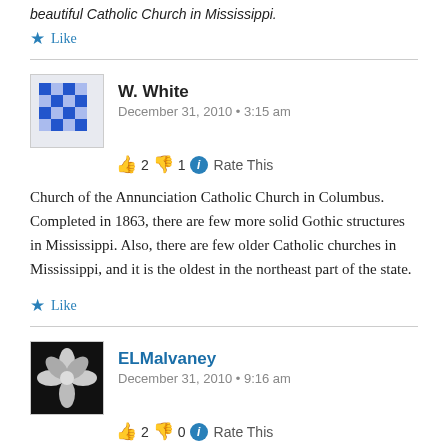beautiful Catholic Church in Mississippi.
★ Like
W. White
December 31, 2010 • 3:15 am
👍 2 👎 1 ℹ Rate This
Church of the Annunciation Catholic Church in Columbus. Completed in 1863, there are few more solid Gothic structures in Mississippi. Also, there are few older Catholic churches in Mississippi, and it is the oldest in the northeast part of the state.
★ Like
ELMalvaney
December 31, 2010 • 9:16 am
👍 2 👎 0 ℹ Rate This
Forrest County Agricultural High School, which still has not